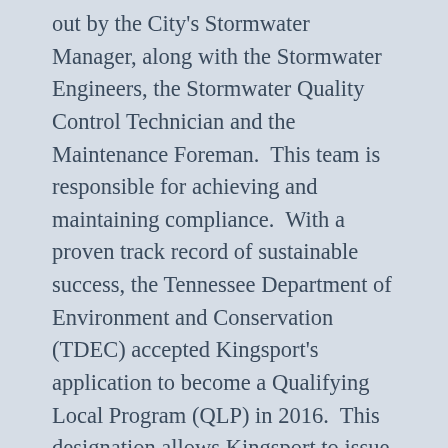out by the City's Stormwater Manager, along with the Stormwater Engineers, the Stormwater Quality Control Technician and the Maintenance Foreman.  This team is responsible for achieving and maintaining compliance.  With a proven track record of sustainable success, the Tennessee Department of Environment and Conservation (TDEC) accepted Kingsport's application to become a Qualifying Local Program (QLP) in 2016.  This designation allows Kingsport to issue stormwater construction permits for non-governmental projects and provides a more streamlined process.
Kingsport develops, implements, and enforces a Stormwater Management Program to protect water quality in our streams.  The elements of the program are documented in a Stormwater